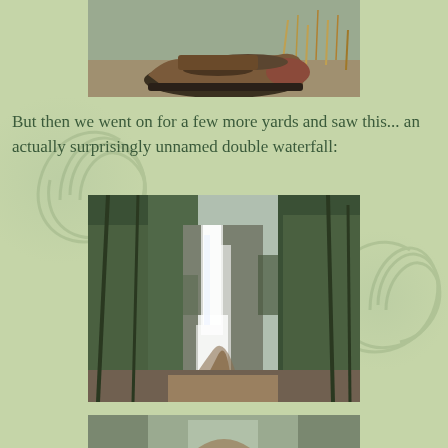[Figure (photo): Close-up of a muddy hiking boot on a dirt trail with dry brush in the background]
But then we went on for a few more yards and saw this... an actually surprisingly unnamed double waterfall:
[Figure (photo): A double waterfall cascading down a rocky cliff surrounded by tall evergreen trees, with a dirt trail visible in the foreground]
[Figure (photo): Partial view of another outdoor scene, cropped at the bottom of the page]